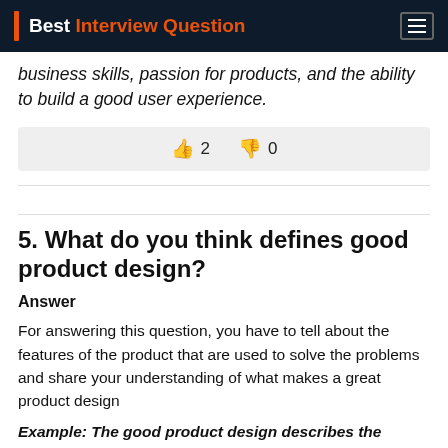Best Interview Question
business skills, passion for products, and the ability to build a good user experience.
👍 2   👎 0
5. What do you think defines good product design?
Answer
For answering this question, you have to tell about the features of the product that are used to solve the problems and share your understanding of what makes a great product design
Example: The good product design describes the